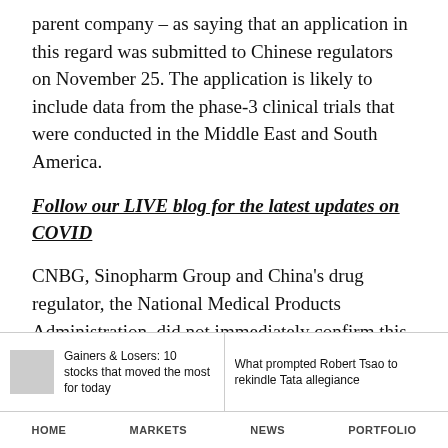parent company – as saying that an application in this regard was submitted to Chinese regulators on November 25. The application is likely to include data from the phase-3 clinical trials that were conducted in the Middle East and South America.
Follow our LIVE blog for the latest updates on COVID
CNBG, Sinopharm Group and China's drug regulator, the National Medical Products Administration, did not immediately confirm this development.
Gainers & Losers: 10 stocks that moved the most for today
What prompted Robert Tsao to rekindle Tata allegiance
HOME   MARKETS   NEWS   PORTFOLIO